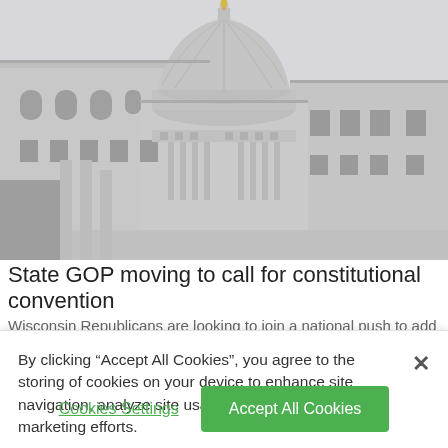[Figure (photo): Photograph of a white neoclassical state capitol building with a large dome topped by a golden statue, taken from a low angle looking up. The building has columns, arched windows, and ornate architectural details. The sky is overcast and grey.]
State GOP moving to call for constitutional convention
Wisconsin Republicans are looking to join a national push to add an
By clicking “Accept All Cookies”, you agree to the storing of cookies on your device to enhance site navigation, analyze site usage, and assist in our marketing efforts.
Cookies Settings
Accept All Cookies